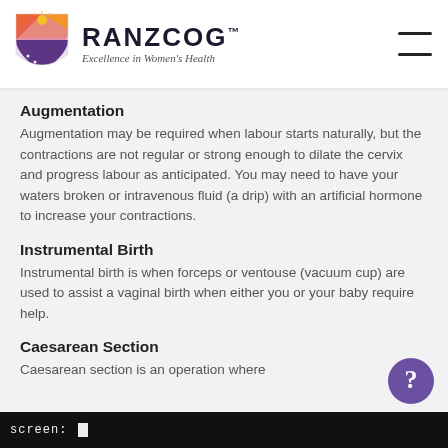RANZCOG™ Excellence in Women's Health
Augmentation
Augmentation may be required when labour starts naturally, but the contractions are not regular or strong enough to dilate the cervix and progress labour as anticipated. You may need to have your waters broken or intravenous fluid (a drip) with an artificial hormone to increase your contractions.
Instrumental Birth
Instrumental birth is when forceps or ventouse (vacuum cup) are used to assist a vaginal birth when either you or your baby require help.
Caesarean Section
Caesarean section is an operation where
screen: _